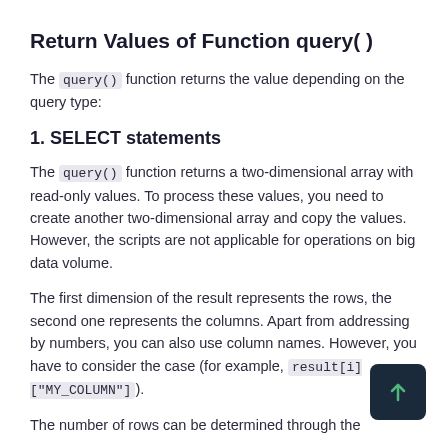Return Values of Function query()
The query() function returns the value depending on the query type:
1. SELECT statements
The query() function returns a two-dimensional array with read-only values. To process these values, you need to create another two-dimensional array and copy the values. However, the scripts are not applicable for operations on big data volume.
The first dimension of the result represents the rows, the second one represents the columns. Apart from addressing by numbers, you can also use column names. However, you have to consider the case (for example, result[i]["MY_COLUMN"]).
The number of rows can be determined through the